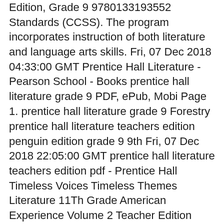Edition, Grade 9 9780133193552 Standards (CCSS). The program incorporates instruction of both literature and language arts skills. Fri, 07 Dec 2018 04:33:00 GMT Prentice Hall Literature - Pearson School - Books prentice hall literature grade 9 PDF, ePub, Mobi Page 1. prentice hall literature grade 9 Forestry
prentice hall literature teachers edition penguin edition grade 9 9th Fri, 07 Dec 2018 22:05:00 GMT prentice hall literature teachers edition pdf - Prentice Hall Timeless Voices Timeless Themes Literature 11Th Grade American Experience Volume 2 Teacher Edition 2002 Isbn 0130623725 by Prentice Hall